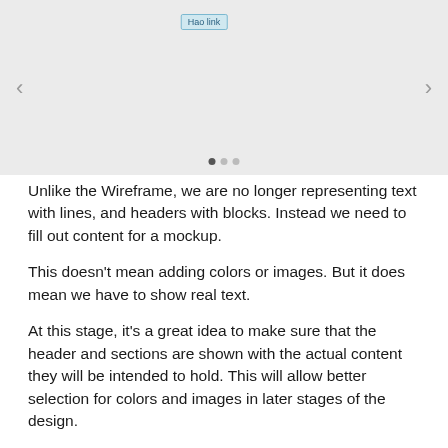[Figure (screenshot): A UI slider/carousel component mockup with a light gray background, left and right navigation arrows, a 'Hao link' label badge near the top center, and pagination dots at the bottom.]
Unlike the Wireframe, we are no longer representing text with lines, and headers with blocks. Instead we need to fill out content for a mockup.
This doesn't mean adding colors or images. But it does mean we have to show real text.
At this stage, it's a great idea to make sure that the header and sections are shown with the actual content they will be intended to hold. This will allow better selection for colors and images in later stages of the design.
In this part of the example, I built out the slider with hero text, and a description underneath. There are a few things to look out for at this phase of the prototype process: